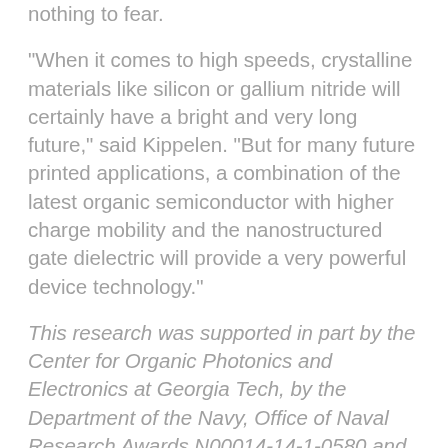nothing to fear.
"When it comes to high speeds, crystalline materials like silicon or gallium nitride will certainly have a bright and very long future," said Kippelen. "But for many future printed applications, a combination of the latest organic semiconductor with higher charge mobility and the nanostructured gate dielectric will provide a very powerful device technology."
This research was supported in part by the Center for Organic Photonics and Electronics at Georgia Tech, by the Department of the Navy, Office of Naval Research Awards N00014-14-1-0580 and N00014-16-1-2520, through the MURI Center for Advanced Photovoltaics (CAOP), by the Air Force Office of Scientific Research through Award No. FA9550-16-1-0168, by the National Nuclear Security Administration Award DE-NA0002576 through the Consortium for Nonproliferation Enabling Technologies